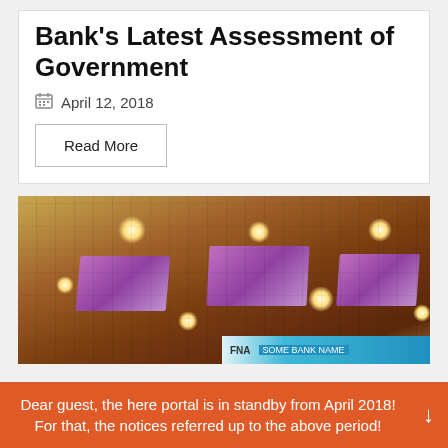Bank's Latest Assessment of Government
April 12, 2018
Read More
[Figure (photo): Interior photo of an ornate wooden coffered ceiling with recessed lights and purple decorative panels, with a blue banner visible at the bottom]
Dear guest, the here portal is in standby from April 2018! For that, the notices referred up to the above period!